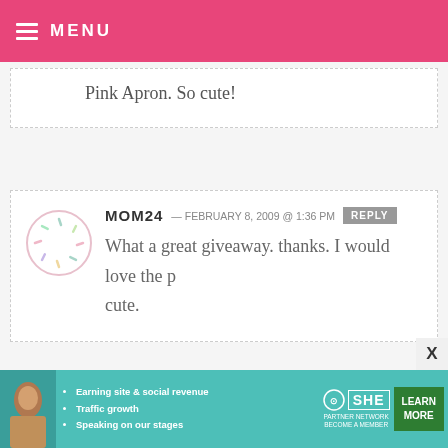MENU
Pink Apron. So cute!
MOM24 — FEBRUARY 8, 2009 @ 1:36 PM REPLY
What a great giveaway. thanks. I would love the p cute.
JULIE B — FEBRUARY 8, 2009 @ 1:33 PM REPLY
I would put a pink bakelove apron to
[Figure (infographic): SHE Partner Network advertisement banner with woman photo, bullet points about earning site & social revenue, traffic growth, speaking on stages, SHE logo, and Learn More button]